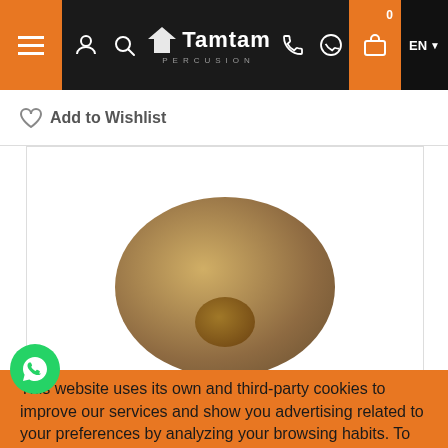[Figure (screenshot): Website navigation bar with hamburger menu, user icon, search icon, Tamtam Percusion logo, phone icon, WhatsApp icon, shopping cart with 0 badge, and EN language selector]
Add to Wishlist
[Figure (photo): Product image of a cymbal or percussion instrument on white background]
This website uses its own and third-party cookies to improve our services and show you advertising related to your preferences by analyzing your browsing habits. To give your consent to its use, press the Accept button.
More information   customize cookies
I ACCEPT
(1)